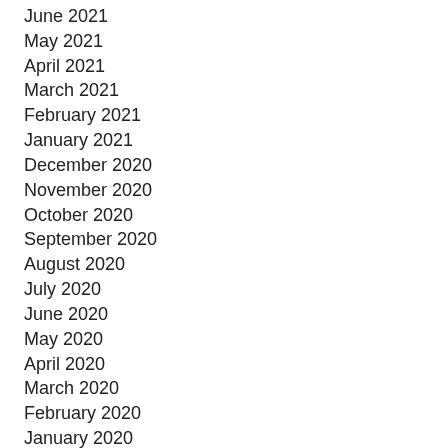June 2021
May 2021
April 2021
March 2021
February 2021
January 2021
December 2020
November 2020
October 2020
September 2020
August 2020
July 2020
June 2020
May 2020
April 2020
March 2020
February 2020
January 2020
December 2019
November 2019
October 2019